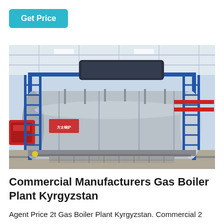Get Price
[Figure (photo): Large industrial gas boiler plant inside a warehouse facility. A massive horizontal cylindrical metallic boiler tank is mounted on a blue steel frame/scaffold structure with ladders on both sides. Red burner assembly visible on the left. Red pipes run along the right side wall. Blue support pipes and fittings surround the tank. Bright white industrial ceiling with lighting above.]
Commercial Manufacturers Gas Boiler Plant Kyrgyzstan
Agent Price 2t Gas Boiler Plant Kyrgyzstan. Commercial 2